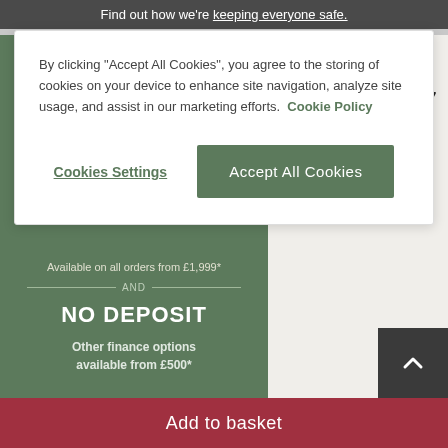Find out how we're keeping everyone safe.
By clicking "Accept All Cookies", you agree to the storing of cookies on your device to enhance site navigation, analyze site usage, and assist in our marketing efforts. Cookie Policy
Cookies Settings
Accept All Cookies
Available on all orders from £1,999*
AND
NO DEPOSIT
Other finance options available from £500*
4ft 3" Extending Dining Table with 4 Chairs Delivered in 7 weeks
Buy any dining table and get HALF PRICE* chairs
Individually: £1,369.
Price after half pric
Add to basket